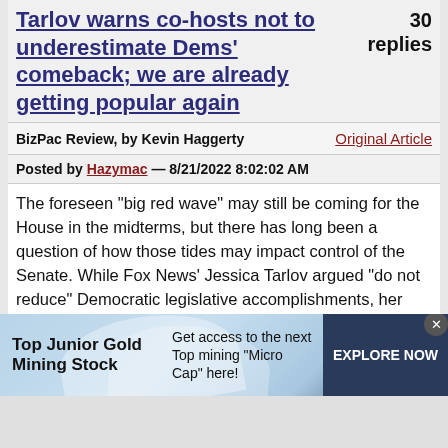Tarlov warns co-hosts not to underestimate Dems' comeback; we are already getting popular again
30 replies
BizPac Review, by Kevin Haggerty   Original Article
Posted by Hazymac — 8/21/2022 8:02:02 AM
The foreseen “big red wave” may still be coming for the House in the midterms, but there has long been a question of how those tides may impact control of the Senate. While Fox News’ Jessica Tarlov argued “do not reduce” Democratic legislative accomplishments, her defense of the left’s chances in November seemed to highlight a
[Figure (infographic): Advertisement banner for Top Junior Gold Mining Stock. Text reads: 'Top Junior Gold Mining Stock' on the left, 'Get access to the next Top mining "Micro Cap" here!' in the center, and 'EXPLORE NOW' button on the right dark blue section. Has wave/mountain shapes in the background.]